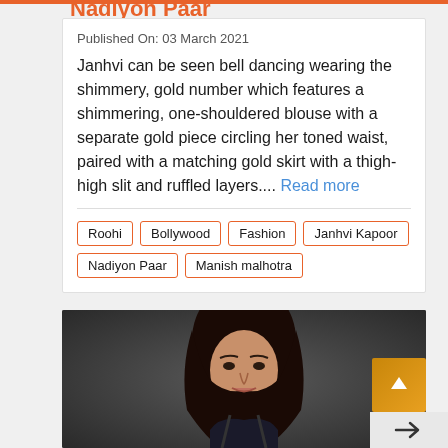Nadiyon Paar
Published On: 03 March 2021
Janhvi can be seen bell dancing wearing the shimmery, gold number which features a shimmering, one-shouldered blouse with a separate gold piece circling her toned waist, paired with a matching gold skirt with a thigh-high slit and ruffled layers.... Read more
Roohi
Bollywood
Fashion
Janhvi Kapoor
Nadiyon Paar
Manish malhotra
[Figure (photo): Photo of Janhvi Kapoor with dark background, scroll-to-top orange button and share arrow button overlaid]